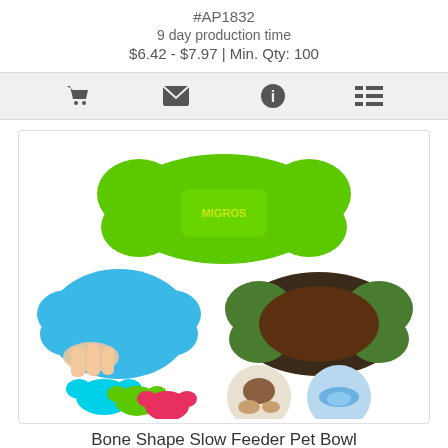#AP1832
9 day production time
$6.42 - $7.97 | Min. Qty: 100
[Figure (other): Icon bar with shopping cart, envelope, info, and list icons]
[Figure (photo): Bone-shaped slow feeder pet bowl shown from multiple angles: top view green bowl with MIGROS label, hand holding blue bowl, green bowl with food, multiple color variants (blue, green, pink), dog using bowl, detail of suction cup bottom]
Bone Shape Slow Feeder Pet Bowl
#APT697